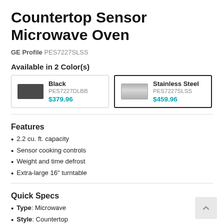Countertop Sensor Microwave Oven
GE Profile PES7227SLSS
Available in 2 Color(s)
| Color | SKU | Price |
| --- | --- | --- |
| Black | PES7227DLBB | $379.96 |
| Stainless Steel | PES7227SLSS | $459.96 |
Features
2.2 cu. ft. capacity
Sensor cooking controls
Weight and time defrost
Extra-large 16" turntable
Quick Specs
Type: Microwave
Style: Countertop